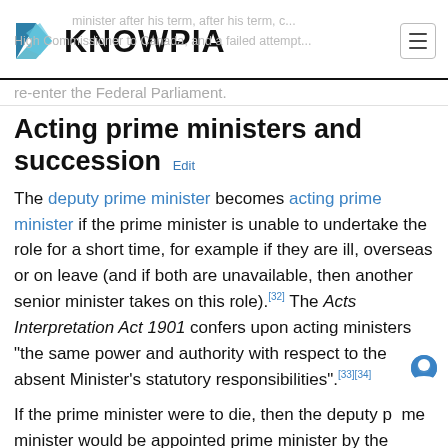KNOWPIA
re-enter the Federal Parliament.
Acting prime ministers and succession Edit
The deputy prime minister becomes acting prime minister if the prime minister is unable to undertake the role for a short time, for example if they are ill, overseas or on leave (and if both are unavailable, then another senior minister takes on this role).[32] The Acts Interpretation Act 1901 confers upon acting ministers "the same power and authority with respect to the absent Minister's statutory responsibilities".[33][34]
If the prime minister were to die, then the deputy prime minister would be appointed prime minister by the